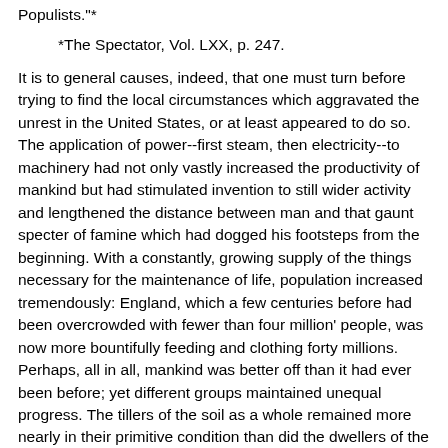Populists."*
*The Spectator, Vol. LXX, p. 247.
It is to general causes, indeed, that one must turn before trying to find the local circumstances which aggravated the unrest in the United States, or at least appeared to do so. The application of power--first steam, then electricity--to machinery had not only vastly increased the productivity of mankind but had stimulated invention to still wider activity and lengthened the distance between man and that gaunt specter of famine which had dogged his footsteps from the beginning. With a constantly, growing supply of the things necessary for the maintenance of life, population increased tremendously: England, which a few centuries before had been overcrowded with fewer than four million' people, was now more bountifully feeding and clothing forty millions. Perhaps, all in all, mankind was better off than it had ever been before; yet different groups maintained unequal progress. The tillers of the soil as a whole remained more nearly in their primitive condition than did the dwellers of the city. The farmer, it is true, produced a greater yield of crops, was surrounded by more comforts, and was able to enjoy greater leisure than his kind had ever done before. The scythe and cradle had been supplanted by the mower and reaper; horse harrows, cultivators, and rakes had transferred much of the physical exertion of farming to the draft animals